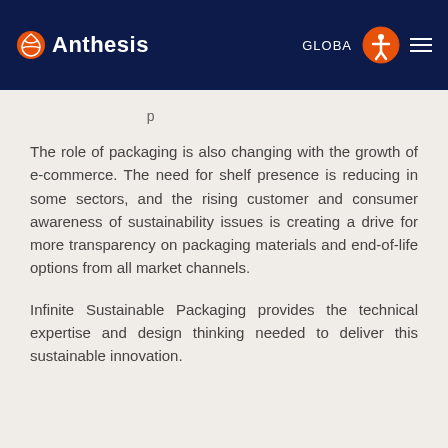Anthesis | GLOBAL
The role of packaging is also changing with the growth of e-commerce. The need for shelf presence is reducing in some sectors, and the rising customer and consumer awareness of sustainability issues is creating a drive for more transparency on packaging materials and end-of-life options from all market channels.
Infinite Sustainable Packaging provides the technical expertise and design thinking needed to deliver this sustainable innovation.